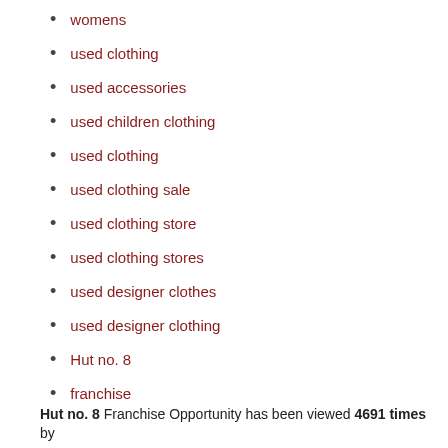womens
used clothing
used accessories
used children clothing
used clothing
used clothing sale
used clothing store
used clothing stores
used designer clothes
used designer clothing
Hut no. 8
franchise
Hut no. 8 Franchise Opportunity has been viewed 4691 times by